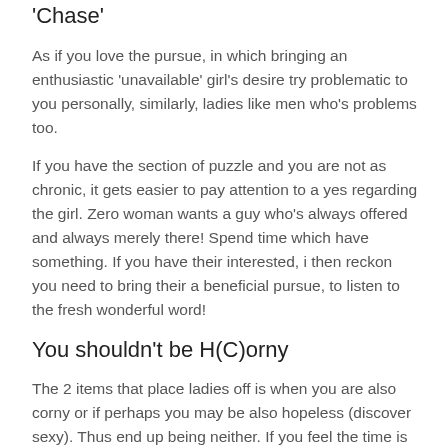'Chase'
As if you love the pursue, in which bringing an enthusiastic 'unavailable' girl's desire try problematic to you personally, similarly, ladies like men who's problems too.
If you have the section of puzzle and you are not as chronic, it gets easier to pay attention to a yes regarding the girl. Zero woman wants a guy who's always offered and always merely there! Spend time which have something. If you have their interested, i then reckon you need to bring their a beneficial pursue, to listen to the fresh wonderful word!
You shouldn't be H(C)orny
The 2 items that place ladies off is when you are also corny or if perhaps you may be also hopeless (discover sexy). Thus end up being neither. If you feel the time is right to inquire about this lady out, merely pop music issue and you can let her just take the woman time for you to address they. Avoid being corny and